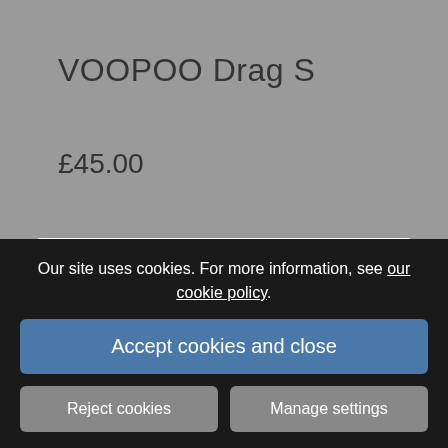VOOPOO Drag S
£45.00
To Continue, Please Confirm You Are Over the Age of 18.
CLOSE
Our site uses cookies. For more information, see our cookie policy.
Accept cookies and close
Reject cookies
Manage settings